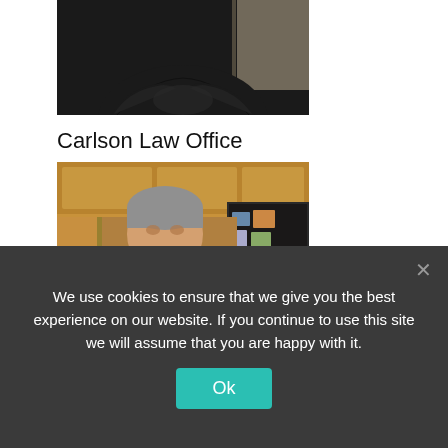[Figure (photo): Top partial photo of a person with arms crossed, wearing dark clothing, cropped at upper body, against an indoor background.]
Carlson Law Office
[Figure (photo): Photo of a middle-aged man with gray hair holding two small fluffy dogs (a Sheltie and a Pomeranian), sitting in a kitchen setting.]
[Figure (other): Yelp rating widget showing approximately 4.5 red stars and '2 reviews' text, with partial letters W, T, P visible at right edge.]
We use cookies to ensure that we give you the best experience on our website. If you continue to use this site we will assume that you are happy with it.
Ok